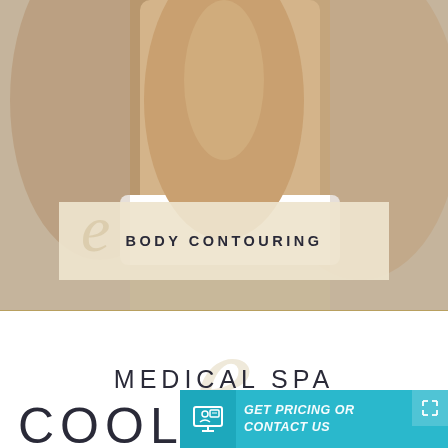[Figure (photo): Photo of a woman's torso in white underwear, showing body contouring area, with a cream-colored overlay banner reading BODY CONTOURING]
BODY CONTOURING
[Figure (logo): e Medical Spa logo — large decorative italic 'e' in cream/gold behind the text MEDICAL SPA in uppercase spaced letters, section bordered by gold horizontal lines]
[Figure (infographic): Teal/cyan CTA banner: icon of chat/contact on left, text 'GET PRICING OR CONTACT US' in italic bold white, expand arrows icon top right]
COOLS